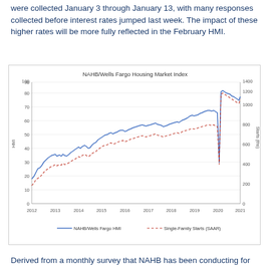were collected January 3 through January 13, with many responses collected before interest rates jumped last week. The impact of these higher rates will be more fully reflected in the February HMI.
[Figure (line-chart): Dual-axis line chart showing NAHB/Wells Fargo HMI (blue solid line, left axis 0-100) and Single-Family Starts SAAR (red dashed line, right axis 0-1400) from 2012 to 2021.]
Derived from a monthly survey that NAHB has been conducting for